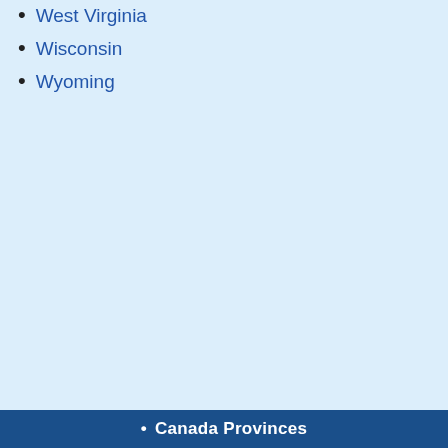West Virginia
Wisconsin
Wyoming
• Canada Provinces